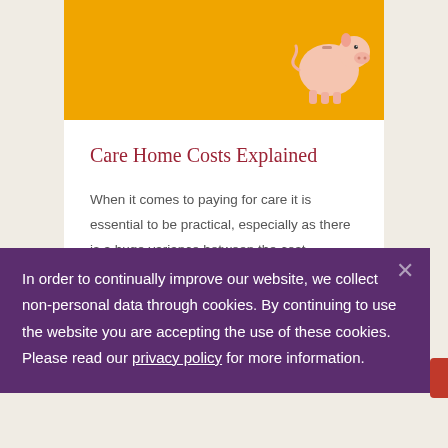[Figure (photo): Piggy bank on orange/yellow background]
Care Home Costs Explained
When it comes to paying for care it is essential to be practical, especially as there is a huge variance between the cost
In order to continually improve our website, we collect non-personal data through cookies. By continuing to use the website you are accepting the use of these cookies. Please read our privacy policy for more information.